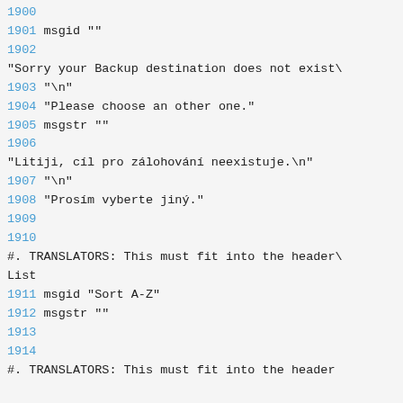1900
1901 msgid ""
1902
"Sorry your Backup destination does not exist
1903 "\n"
1904 "Please choose an other one."
1905 msgstr ""
1906
"Litiji, cíl pro zálohování neexistuje.\n"
1907 "\n"
1908 "Prosím vyberte jiný."
1909
1910
#. TRANSLATORS: This must fit into the header List
1911 msgid "Sort A-Z"
1912 msgstr ""
1913
1914
#. TRANSLATORS: This must fit into the header